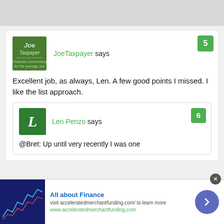JoeTaxpayer says
Excellent job, as always, Len. A few good points I missed. I like the list approach.
Len Penzo says
@Bret: Up until very recently I was one
[Figure (infographic): Ad banner: All about Finance - visit acceleratedmerchantfunding.com/ to learn more. www.acceleratedmerchantfunding.com]